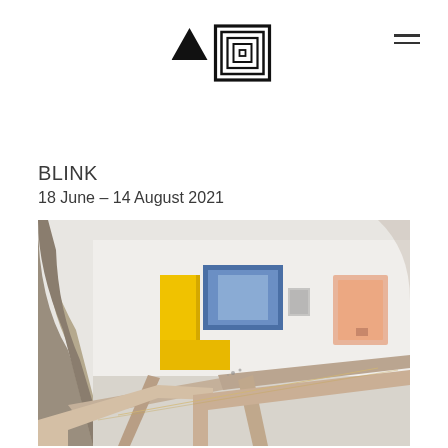[Figure (logo): VE logo mark — downward-pointing black triangle on the left and concentric square line pattern on the right, forming a combined logomark for a gallery or institution]
BLINK
18 June – 14 August 2021
[Figure (photo): Interior view of a white gallery space framed through a stone archway. In the foreground are large intersecting wooden/cardboard flat structures forming a grid-like installation. In the background is a bright yellow L-shaped shelf sculpture, a blue-framed window/artwork, and a peach-colored niche in the wall on the right.]